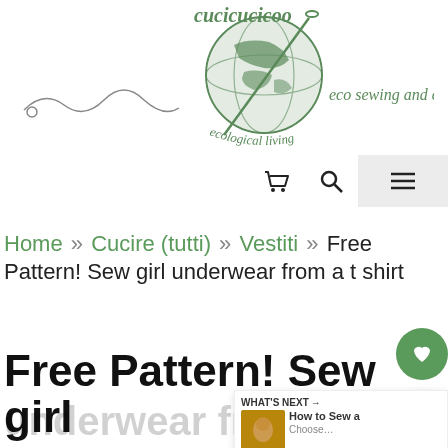[Figure (logo): Cucicucicoo ecological living logo — a hand-drawn globe with a sewing needle, text 'cucicucicoo ecological living' in green script, with a decorative thread line, and tagline 'eco sewing and crafting']
🛒  🔍  ≡
Home » Cucire (tutti) » Vestiti » Free Pattern! Sew girl underwear from a t shirt
Free Pattern! Sew girl underwear from a t shirt